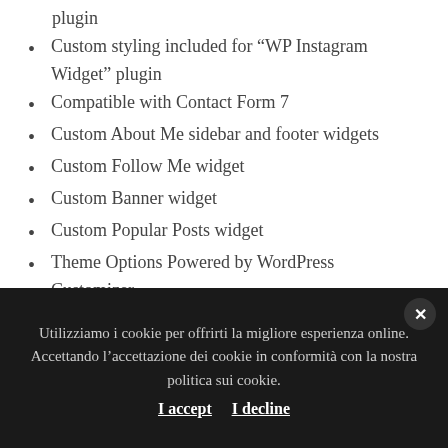plugin
Custom styling included for “WP Instagram Widget” plugin
Compatible with Contact Form 7
Custom About Me sidebar and footer widgets
Custom Follow Me widget
Custom Banner widget
Custom Popular Posts widget
Theme Options Powered by WordPress Customizer
SVG Icons
All Google Fonts
Customizable color options
Social media icons
Utilizziamo i cookie per offrirti la migliore esperienza online. Accettando l’accettazione dei cookie in conformità con la nostra politica sui cookie.
I accept   I decline